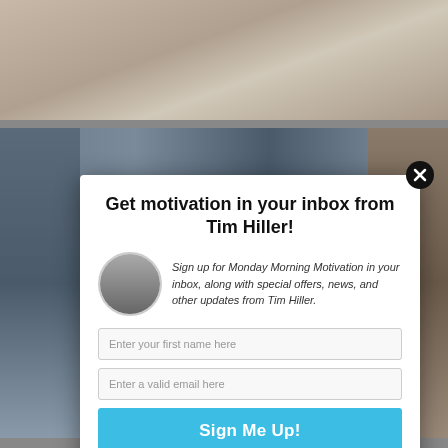[Figure (photo): Background photo at top showing audience/crowd in lecture hall setting]
[Figure (photo): Background photo showing basketball players in gym with motivational signage]
Get motivation in your inbox from Tim Hiller!
Sign up for Monday Morning Motivation in your inbox, along with special offers, news, and other updates from Tim Hiller.
Enter your first name here
Enter a valid email here
Sign Me Up!
Your information will *never* be shared or sold to a 3rd party.